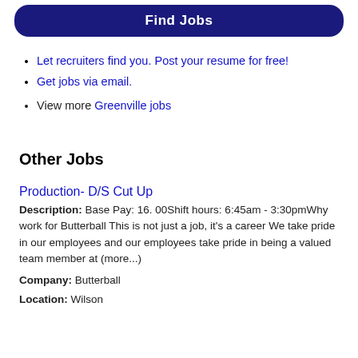Find Jobs
Let recruiters find you. Post your resume for free!
Get jobs via email.
View more Greenville jobs
Other Jobs
Production- D/S Cut Up
Description: Base Pay: 16. 00Shift hours: 6:45am - 3:30pmWhy work for Butterball This is not just a job, it's a career We take pride in our employees and our employees take pride in being a valued team member at (more...)
Company: Butterball
Location: Wilson